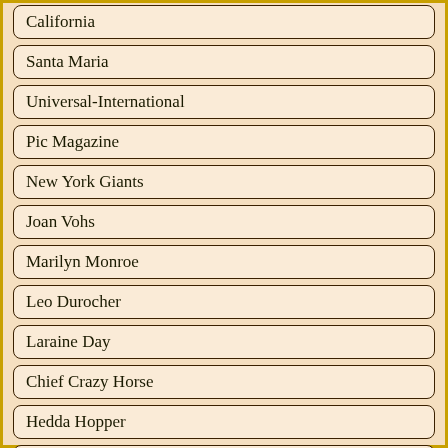California
Santa Maria
Universal-International
Pic Magazine
New York Giants
Joan Vohs
Marilyn Monroe
Leo Durocher
Laraine Day
Chief Crazy Horse
Hedda Hopper
Suzan Ball
Joe Louis